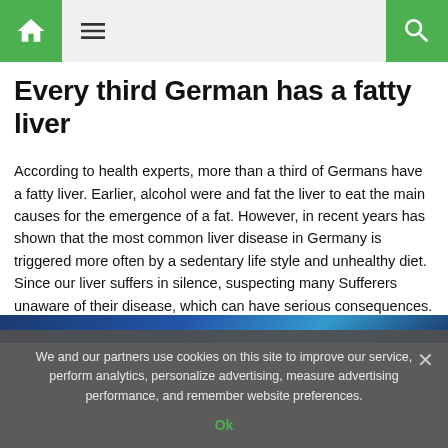[Home icon] [Menu icon] [Search icon]
Every third German has a fatty liver
According to health experts, more than a third of Germans have a fatty liver. Earlier, alcohol were and fat the liver to eat the main causes for the emergence of a fat. However, in recent years has shown that the most common liver disease in Germany is triggered more often by a sedentary life style and unhealthy diet. Since our liver suffers in silence, suspecting many Sufferers unaware of their disease, which can have serious consequences.
[Figure (photo): Blue-toned image strip visible at the bottom of the article content area]
We and our partners use cookies on this site to improve our service, perform analytics, personalize advertising, measure advertising performance, and remember website preferences.
Ok